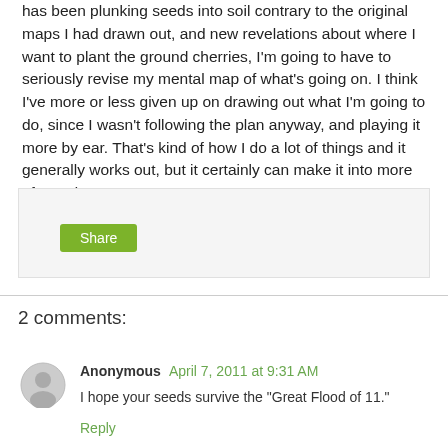has been plunking seeds into soil contrary to the original maps I had drawn out, and new revelations about where I want to plant the ground cherries, I'm going to have to seriously revise my mental map of what's going on.  I think I've more or less given up on drawing out what I'm going to do, since I wasn't following the plan anyway, and playing it more by ear.  That's kind of how I do a lot of things and it generally works out, but it certainly can make it into more of an adventure!
2 comments:
Anonymous April 7, 2011 at 9:31 AM
I hope your seeds survive the "Great Flood of 11."
Reply